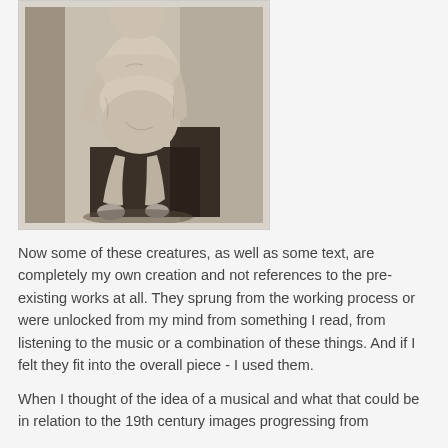[Figure (illustration): A black-and-white charcoal or pencil drawing of a seated nude figure on a dark block or chair, rendered in a classical academic style. The figure is viewed frontally, with the head cropped at the top. The background is lightly shaded.]
Now some of these creatures, as well as some text, are completely my own creation and not references to the pre-existing works at all. They sprung from the working process or were unlocked from my mind from something I read, from listening to the music or a combination of these things. And if I felt they fit into the overall piece - I used them.
When I thought of the idea of a musical and what that could be in relation to the 19th century images progressing from